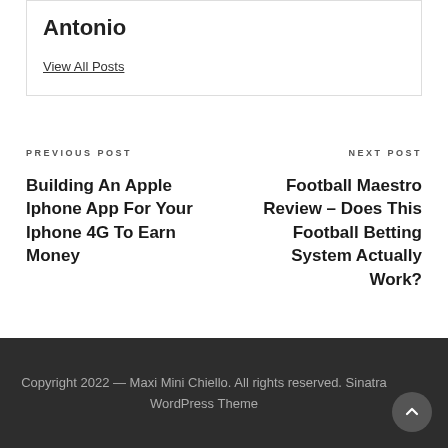Antonio
View All Posts
PREVIOUS POST
Building An Apple Iphone App For Your Iphone 4G To Earn Money
NEXT POST
Football Maestro Review – Does This Football Betting System Actually Work?
Copyright 2022 — Maxi Mini Chiello. All rights reserved. Sinatra WordPress Theme